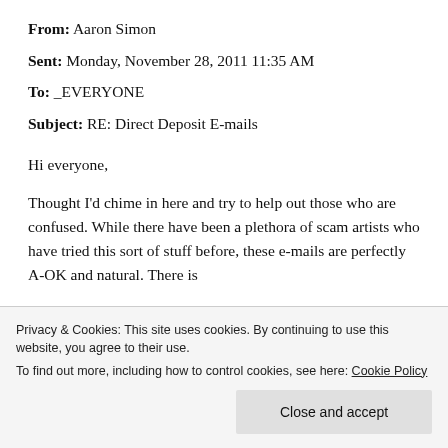From: Aaron Simon
Sent: Monday, November 28, 2011 11:35 AM
To: _EVERYONE
Subject: RE: Direct Deposit E-mails
Hi everyone,
Thought I'd chime in here and try to help out those who are confused. While there have been a plethora of scam artists who have tried this sort of stuff before, these e-mails are perfectly A-OK and natural. There is
Privacy & Cookies: This site uses cookies. By continuing to use this website, you agree to their use. To find out more, including how to control cookies, see here: Cookie Policy